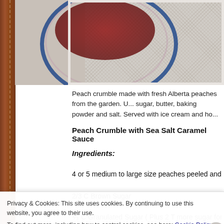[Figure (photo): Partial view of a plate with dark red/maroon food (peach crumble) with a blue-rimmed plate, on a herringbone textile background]
Peach crumble made with fresh Alberta peaches from the garden. U... sugar, butter, baking powder and salt. Served with ice cream and ho...
Peach Crumble with Sea Salt Caramel Sauce
Ingredients:
4 or 5 medium to large size peaches peeled and sliced ¼ inch thick
2/3 C Brown Sugar
⅓ C Granulated Sugar ( Plus 2 T more sugar for peaches
Privacy & Cookies: This site uses cookies. By continuing to use this website, you agree to their use.
To find out more, including how to control cookies, see here: Cookie Policy